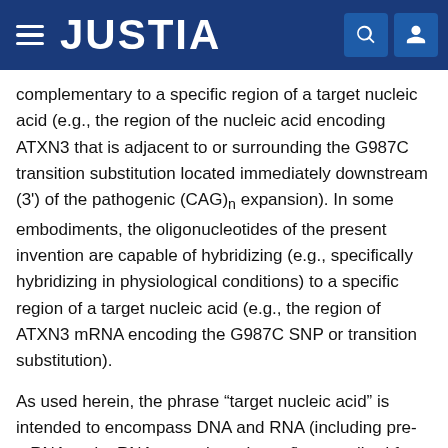JUSTIA
complementary to a specific region of a target nucleic acid (e.g., the region of the nucleic acid encoding ATXN3 that is adjacent to or surrounding the G987C transition substitution located immediately downstream (3') of the pathogenic (CAG)n expansion). In some embodiments, the oligonucleotides of the present invention are capable of hybridizing (e.g., specifically hybridizing in physiological conditions) to a specific region of a target nucleic acid (e.g., the region of ATXN3 mRNA encoding the G987C SNP or transition substitution).
As used herein, the phrase “target nucleic acid” is intended to encompass DNA and RNA (including pre-mRNA and mRNA or portions thereof) transcribed from such DNA, and also cDNA derived from such RNA. For example, in some embodiments, the phrase “target nucleic acid” is used to refer to nucleic acids encoding